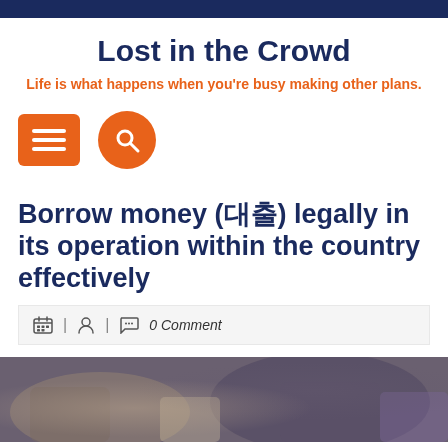Lost in the Crowd
Life is what happens when you're busy making other plans.
[Figure (other): Navigation icons: orange rounded-rectangle hamburger menu button and orange circle search button]
Borrow money (대출) legally in its operation within the country effectively
0 Comment
[Figure (photo): Partial photo of people sitting, showing hands and legs, with money visible]